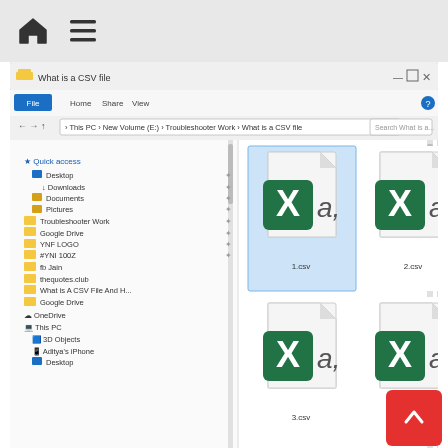🏠 ☰
[Figure (screenshot): Windows File Explorer showing a folder named 'What is a CSV file' with 4 CSV files displayed as large icons (1.csv, 2.csv, 3.csv, 4.csv), each shown with a Microsoft Excel CSV icon (green X with 'a,'). Left panel shows folder tree. Bottom status bar reads '6 items  1 item selected  145 bytes'.]
What is a CSV file & How to open a .csv file?
[Figure (illustration): Small calendar/grid icon]
In this article, you will get to know what is a CSV file and how to open a file which is in .csv format. What is a CSV file? CSV stands for